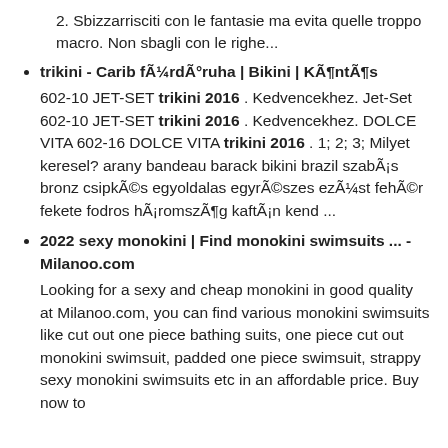2. Sbizzarrisciti con le fantasie ma evita quelle troppo macro. Non sbagli con le righe...
trikini - Carib fürdőruha | Bikini | Köntös
602-10 JET-SET trikini 2016 . Kedvencekhez. Jet-Set 602-10 JET-SET trikini 2016 . Kedvencekhez. DOLCE VITA 602-16 DOLCE VITA trikini 2016 . 1; 2; 3; Milyet keresel? arany bandeau barack bikini brazil szabás bronz csipkés egyoldalas egyrészes ezüst fehér fekete fodros háromszög kaftán kend ...
2022 sexy monokini | Find monokini swimsuits ... - Milanoo.com
Looking for a sexy and cheap monokini in good quality at Milanoo.com, you can find various monokini swimsuits like cut out one piece bathing suits, one piece cut out monokini swimsuit, padded one piece swimsuit, strappy sexy monokini swimsuits etc in an affordable price. Buy now to